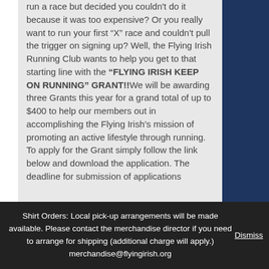run a race but decided you couldn't do it because it was too expensive? Or you really want to run your first “X” race and couldn't pull the trigger on signing up? Well, the Flying Irish Running Club wants to help you get to that starting line with the “FLYING IRISH KEEP ON RUNNING” GRANT!!We will be awarding three Grants this year for a grand total of up to $400 to help our members out in accomplishing the Flying Irish’s mission of promoting an active lifestyle through running. To apply for the Grant simply follow the link below and download the application. The deadline for submission of applications
Shirt Orders: Local pick-up arrangements will be made available. Please contact the merchandise director if you need to arrange for shipping (additional charge will apply.) merchandise@flyingirish.org Dismiss